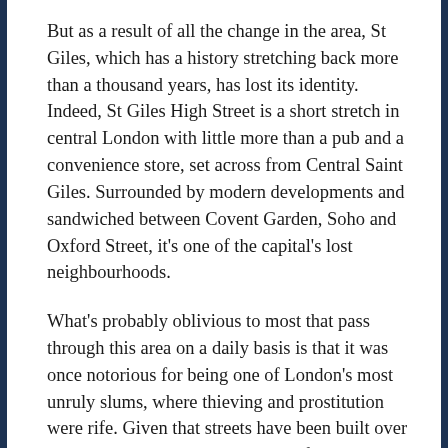But as a result of all the change in the area, St Giles, which has a history stretching back more than a thousand years, has lost its identity. Indeed, St Giles High Street is a short stretch in central London with little more than a pub and a convenience store, set across from Central Saint Giles. Surrounded by modern developments and sandwiched between Covent Garden, Soho and Oxford Street, it's one of the capital's lost neighbourhoods.
What's probably oblivious to most that pass through this area on a daily basis is that it was once notorious for being one of London's most unruly slums, where thieving and prostitution were rife. Given that streets have been built over and buildings demolished, traces of it have virtually disappeared. St Giles parish church (a religious institution since Saxon times), for example, is one of the few landmarks that would have